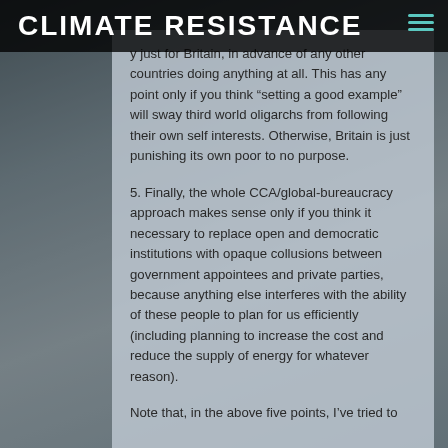CLIMATE RESISTANCE
y just for Britain, in advance of any other countries doing anything at all. This has any point only if you think “setting a good example” will sway third world oligarchs from following their own self interests. Otherwise, Britain is just punishing its own poor to no purpose.
5. Finally, the whole CCA/global-bureaucracy approach makes sense only if you think it necessary to replace open and democratic institutions with opaque collusions between government appointees and private parties, because anything else interferes with the ability of these people to plan for us efficiently (including planning to increase the cost and reduce the supply of energy for whatever reason).
Note that, in the above five points, I’ve tried to